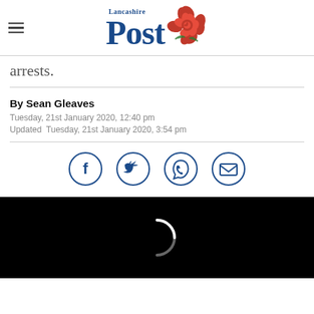Lancashire Post
arrests.
By Sean Gleaves
Tuesday, 21st January 2020, 12:40 pm
Updated  Tuesday, 21st January 2020, 3:54 pm
[Figure (infographic): Social sharing icons: Facebook, Twitter, WhatsApp, Email — each inside a blue circle outline]
[Figure (photo): Black video/media loading area with a white loading spinner arc in the center]